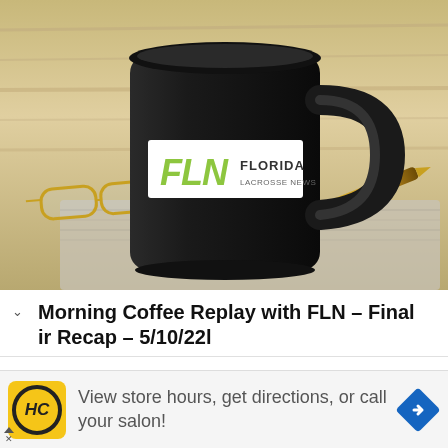[Figure (photo): Black coffee mug with FLN Florida Lacrosse News logo label on it, sitting on a gray cloth napkin with gold-framed glasses and a gold pen, against a wooden background]
Morning Coffee Replay with FLN – Final 
ir Recap – 5/10/22l
View store hours, get directions, or call your salon!